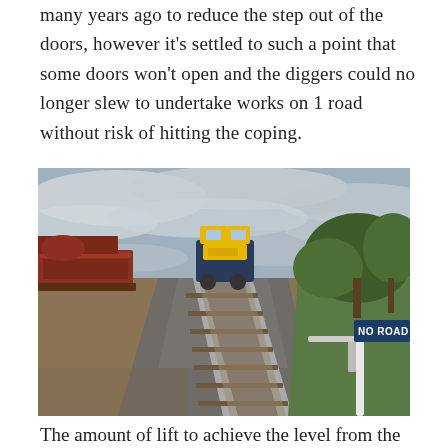many years ago to reduce the step out of the doors, however it's settled to such a point that some doors won't open and the diggers could no longer slew to undertake works on 1 road without risk of hitting the coping.
[Figure (photo): A railway scene showing a yellow and blue locomotive on tracks, with red freight wagons on the left, green trees on the right, a wet road surface, cloudy sky, and a 'NO ROAD' sign visible in the foreground right.]
The amount of lift to achieve the level from the all...